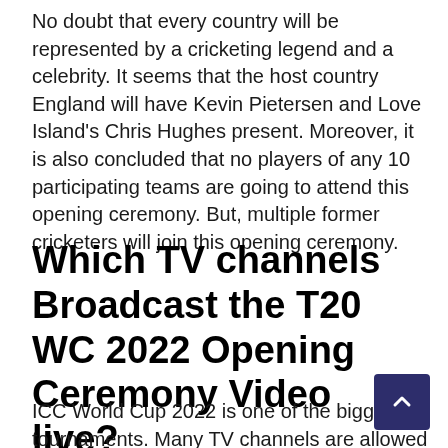No doubt that every country will be represented by a cricketing legend and a celebrity. It seems that the host country England will have Kevin Pietersen and Love Island's Chris Hughes present. Moreover, it is also concluded that no players of any 10 participating teams are going to attend this opening ceremony. But, multiple former cricketers will join this opening ceremony.
Which TV channels Broadcast the T20 WC 2022 Opening Ceremony Video live?
ICC World Cup 2022 is one of the biggest tournaments. Many TV channels are allowed